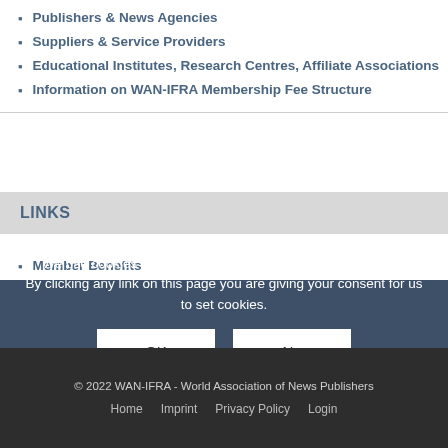Publishers & News Agencies
Suppliers & Service Providers
Educational Institutes, Research Centres, Affiliate Associations
Information on WAN-IFRA Membership Fee Structure
LINKS
Member Benefits
Membership Brochure
4 Reasons to Join us
Already a Member?
Download 'Member of WAN-IFRA' Logo
We use cookies on this site to enhance your user experience By clicking any link on this page you are giving your consent for us to set cookies.
OK   No
© 2022 WAN-IFRA - World Association of News Publishers
Home   Imprint   Privacy Policy   Login